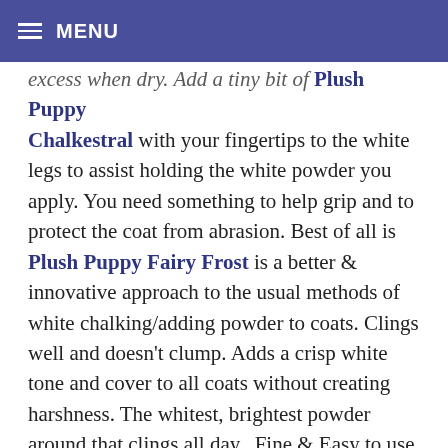MENU
excess when dry. Add a tiny bit of Plush Puppy Chalkestral with your fingertips to the white legs to assist holding the white powder you apply. You need something to help grip and to protect the coat from abrasion. Best of all is Plush Puppy Fairy Frost is a better & innovative approach to the usual methods of white chalking/adding powder to coats. Clings well and doesn't clump. Adds a crisp white tone and cover to all coats without creating harshness. The whitest, brightest powder around that clings all day.  Fine & Easy to use, with a little going a long way. Naturally sourced – no chalk or talc. Use instead of chalk. Can be mixed with your usual white powder. Best for glamorous perfect whites. Never gets clumpy, even when wet. Apply with the Plush Puppy Ultimate Powder Brush. Work well into the area where required for enhancing whites and cover. You can sneak